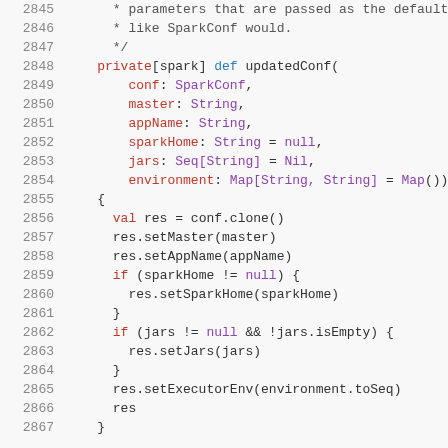[Figure (screenshot): Scala source code showing lines 2845-2867, a private method updatedConf with parameters conf, master, appName, sparkHome, jars, environment, and body setting values on a cloned conf object.]